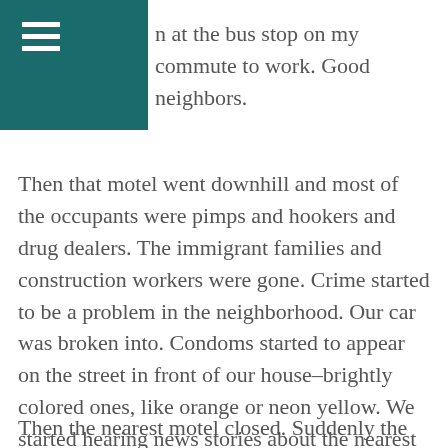n at the bus stop on my commute to work. Good neighbors.
Then that motel went downhill and most of the occupants were pimps and hookers and drug dealers. The immigrant families and construction workers were gone. Crime started to be a problem in the neighborhood. Our car was broken into. Condoms started to appear on the street in front of our house–brightly colored ones, like orange or neon yellow. We started hearing news stories about the nearest motel–hookers stabbing their johns, or someone shooting someone else over drugs. Waiting at the bus stop became scarier, so I started riding a different route that was farther away and less nerve-wracking.
Then the nearest motel closed. Suddenly the pimps